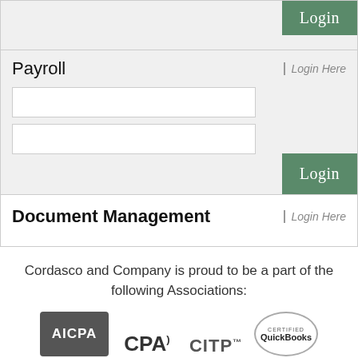[Figure (screenshot): Top section with a Login button in green on the right side, gray background panel]
Payroll | Login Here
[Figure (screenshot): Two empty input fields (username and password) with a green Login button on the right]
Document Management | Login Here
Cordasco and Company is proud to be a part of the following Associations:
[Figure (logo): Four association logos: AICPA, CPA, CITP, Certified QuickBooks]